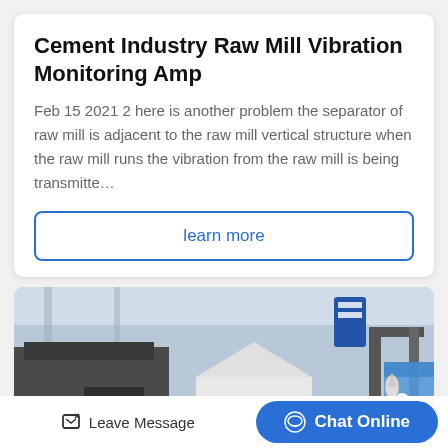Cement Industry Raw Mill Vibration Monitoring Amp
Feb 15 2021 2 here is another problem the separator of raw mill is adjacent to the raw mill vertical structure when the raw mill runs the vibration from the raw mill is being transmitte…
learn more
[Figure (photo): Industrial cement mill machinery inside a factory building, showing heavy equipment including a large white conical grinding mill, metal frames, and blue industrial materials in the background]
Leave Message
Chat Online